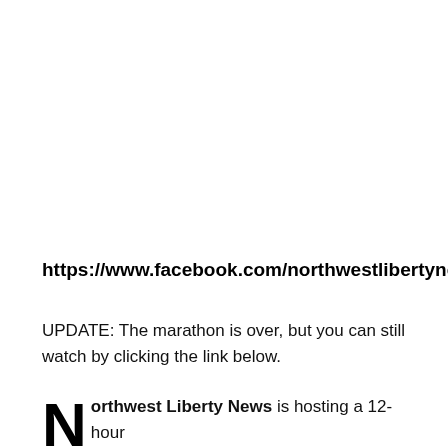https://www.facebook.com/northwestlibertynews/
UPDATE: The marathon is over, but you can still watch by clicking the link below.
Northwest Liberty News is hosting a 12-hour broadcast marathon Saturday, July 13, 2019.